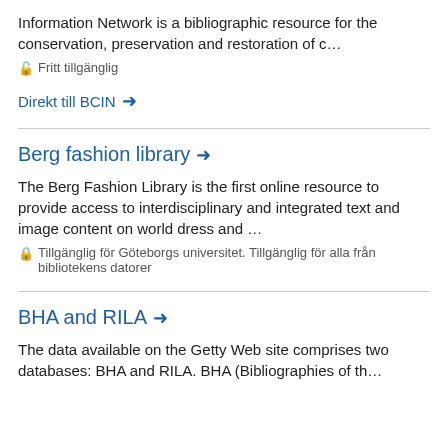Information Network is a bibliographic resource for the conservation, preservation and restoration of c…
🔓 Fritt tillgänglig
Direkt till BCIN →
Berg fashion library →
The Berg Fashion Library is the first online resource to provide access to interdisciplinary and integrated text and image content on world dress and …
🔒 Tillgänglig för Göteborgs universitet. Tillgänglig för alla från bibliotekens datorer
BHA and RILA →
The data available on the Getty Web site comprises two databases: BHA and RILA. BHA (Bibliographies of the…